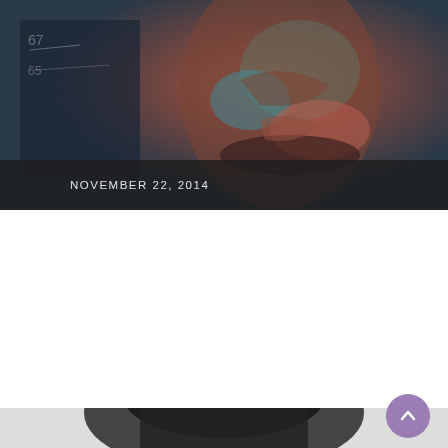[Figure (photo): Abstract colorful portrait painting of a man's face with teal, orange, and red brushstrokes against a dark background]
NOVEMBER 22, 2014
Logic – Under Pressure
Logic is the type of artist, if you follow his story from his beginning, whom you want to see succeed. He released his debut album Under Pressure after releasing four …
CONTINUE READING
[Figure (photo): Person wearing a dark navy knit beanie hat, partially visible at bottom of page]